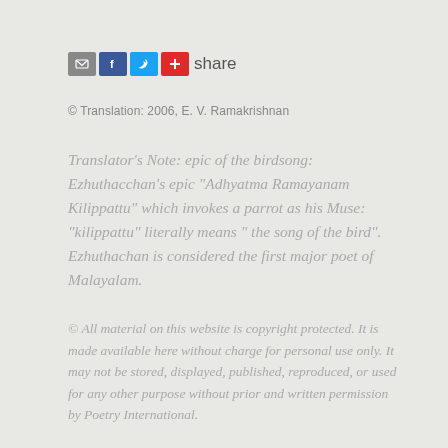[Figure (other): Social share bar with email, Facebook, Twitter, and Google Plus icons followed by the word 'share']
© Translation: 2006, E. V. Ramakrishnan
Translator's Note: epic of the birdsong: Ezhuthacchan's epic "Adhyatma Ramayanam Kilippattu" which invokes a parrot as his Muse: “kilippattu” literally means “ the song of the bird”. Ezhuthachan is considered the first major poet of Malayalam.
© All material on this website is copyright protected. It is made available here without charge for personal use only. It may not be stored, displayed, published, reproduced, or used for any other purpose without prior and written permission by Poetry International.